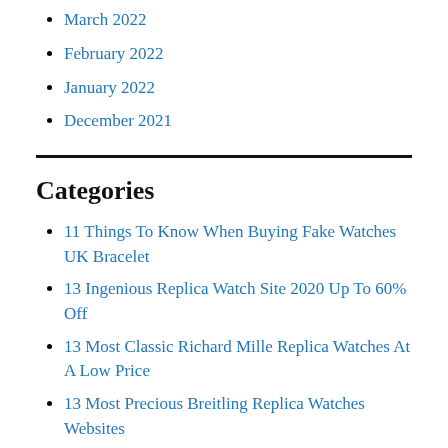March 2022
February 2022
January 2022
December 2021
Categories
11 Things To Know When Buying Fake Watches UK Bracelet
13 Ingenious Replica Watch Site 2020 Up To 60% Off
13 Most Classic Richard Mille Replica Watches At A Low Price
13 Most Precious Breitling Replica Watches Websites